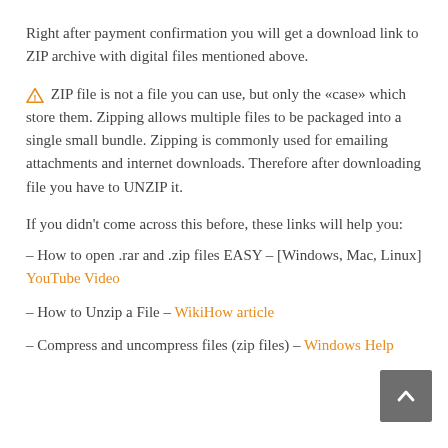Right after payment confirmation you will get a download link to ZIP archive with digital files mentioned above.
⚠ ZIP file is not a file you can use, but only the «case» which store them. Zipping allows multiple files to be packaged into a single small bundle. Zipping is commonly used for emailing attachments and internet downloads. Therefore after downloading file you have to UNZIP it.
If you didn't come across this before, these links will help you:
– How to open .rar and .zip files EASY – [Windows, Mac, Linux] YouTube Video
– How to Unzip a File – WikiHow article
– Compress and uncompress files (zip files) – Windows Help